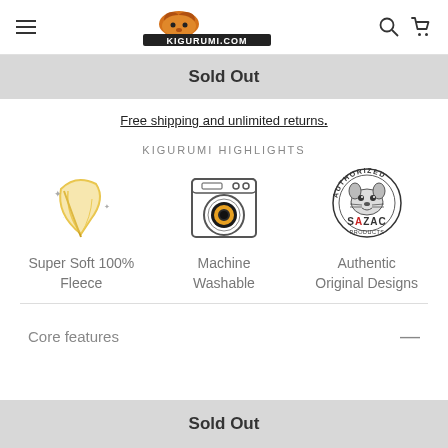KIGURUMI.COM
Sold Out
Free shipping and unlimited returns.
KIGURUMI HIGHLIGHTS
[Figure (illustration): Feather icon representing Super Soft 100% Fleece]
Super Soft 100% Fleece
[Figure (illustration): Washing machine icon representing Machine Washable]
Machine Washable
[Figure (logo): Authorized SAZAC Products badge/logo]
Authentic Original Designs
Core features
Sold Out